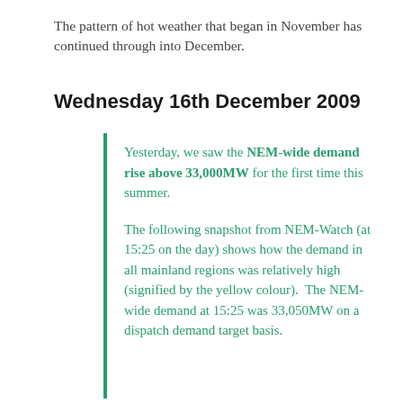The pattern of hot weather that began in November has continued through into December.
Wednesday 16th December 2009
Yesterday, we saw the NEM-wide demand rise above 33,000MW for the first time this summer.
The following snapshot from NEM-Watch (at 15:25 on the day) shows how the demand in all mainland regions was relatively high (signified by the yellow colour).  The NEM-wide demand at 15:25 was 33,050MW on a dispatch demand target basis.